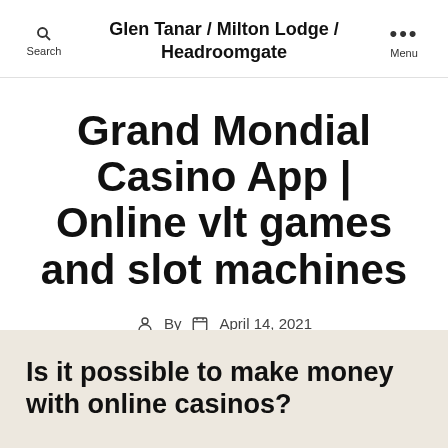Glen Tanar / Milton Lodge / Headroomgate
Grand Mondial Casino App | Online vlt games and slot machines
By  April 14, 2021
Is it possible to make money with online casinos?